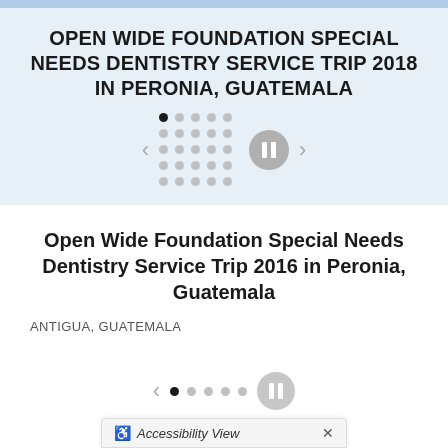OPEN WIDE FOUNDATION SPECIAL NEEDS DENTISTRY SERVICE TRIP 2018 IN PERONIA, GUATEMALA
[Figure (other): Slideshow navigation controls: left arrow, dot grid (5x5 dots with first dot active/filled), pause button, right arrow]
Open Wide Foundation Special Needs Dentistry Service Trip 2016 in Peronia, Guatemala
ANTIGUA, GUATEMALA
[Figure (other): Bottom slideshow navigation controls: left arrow, dot row with first dot active, partial pause button]
Accessibility View  ×